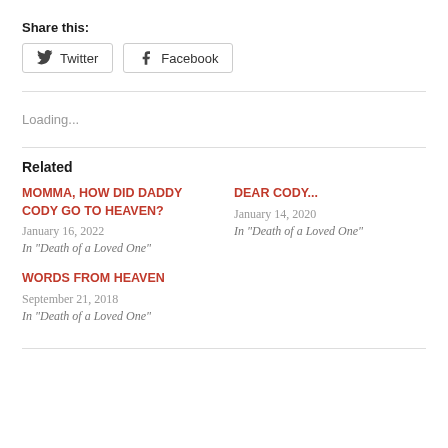Share this:
[Figure (other): Twitter and Facebook share buttons]
Loading...
Related
MOMMA, HOW DID DADDY CODY GO TO HEAVEN?
January 16, 2022
In "Death of a Loved One"
DEAR CODY...
January 14, 2020
In "Death of a Loved One"
WORDS FROM HEAVEN
September 21, 2018
In "Death of a Loved One"